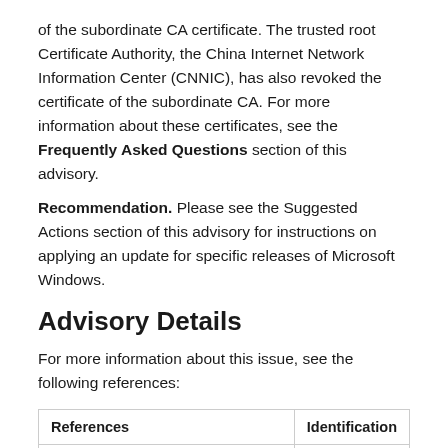of the subordinate CA certificate. The trusted root Certificate Authority, the China Internet Network Information Center (CNNIC), has also revoked the certificate of the subordinate CA. For more information about these certificates, see the Frequently Asked Questions section of this advisory.
Recommendation. Please see the Suggested Actions section of this advisory for instructions on applying an update for specific releases of Microsoft Windows.
Advisory Details
For more information about this issue, see the following references:
| References | Identification |
| --- | --- |
| Microsoft Knowledge Base Article | 3050995 ↗ |